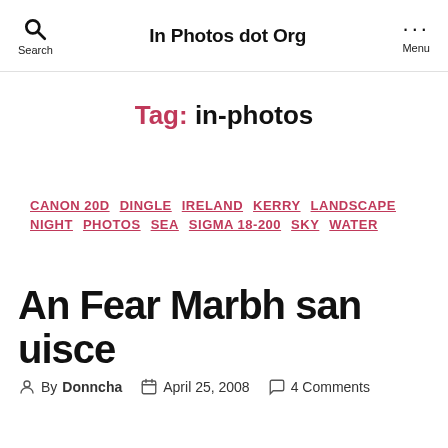In Photos dot Org
Tag: in-photos
CANON 20D  DINGLE  IRELAND  KERRY  LANDSCAPE  NIGHT  PHOTOS  SEA  SIGMA 18-200  SKY  WATER
An Fear Marbh san uisce
By Donncha  April 25, 2008  4 Comments